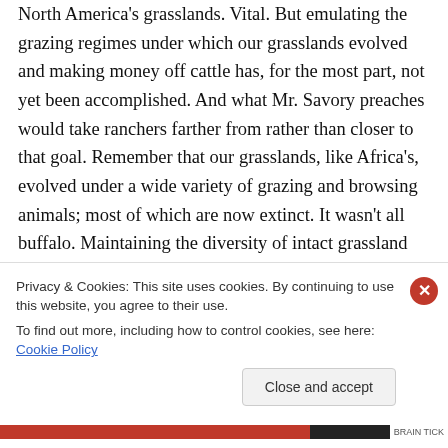North America's grasslands. Vital. But emulating the grazing regimes under which our grasslands evolved and making money off cattle has, for the most part, not yet been accomplished. And what Mr. Savory preaches would take ranchers farther from rather than closer to that goal. Remember that our grasslands, like Africa's, evolved under a wide variety of grazing and browsing animals; most of which are now extinct. It wasn't all buffalo. Maintaining the diversity of intact grassland communities takes a lot of
Privacy & Cookies: This site uses cookies. By continuing to use this website, you agree to their use.
To find out more, including how to control cookies, see here: Cookie Policy